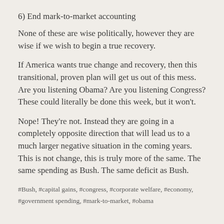6) End mark-to-market accounting
None of these are wise politically, however they are wise if we wish to begin a true recovery.
If America wants true change and recovery, then this transitional, proven plan will get us out of this mess. Are you listening Obama? Are you listening Congress? These could literally be done this week, but it won't.
Nope! They're not. Instead they are going in a completely opposite direction that will lead us to a much larger negative situation in the coming years. This is not change, this is truly more of the same. The same spending as Bush. The same deficit as Bush.
#Bush, #capital gains, #congress, #corporate welfare, #economy, #government spending, #mark-to-market, #obama